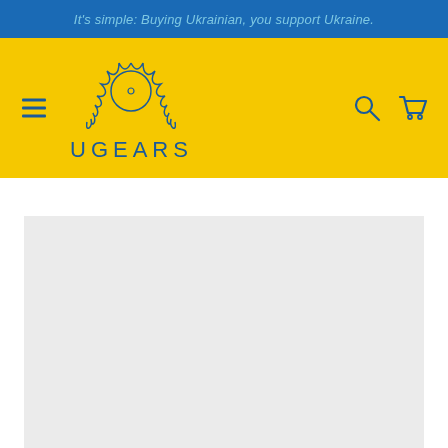It's simple: Buying Ukrainian, you support Ukraine.
[Figure (logo): UGEARS logo with gear icon and brand name, navigation bar with hamburger menu, search icon, and cart icon on yellow background]
[Figure (photo): Light gray placeholder image area below the navigation]